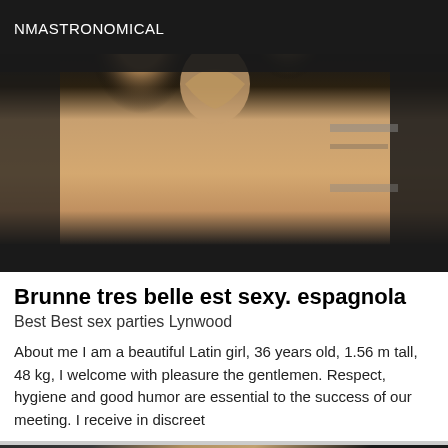NMASTRONOMICAL
[Figure (photo): Close-up photo of a person's lower body/legs against a dark background with what appears to be furniture]
Brunne tres belle est sexy. espagnola
Best Best sex parties Lynwood
About me I am a beautiful Latin girl, 36 years old, 1.56 m tall, 48 kg, I welcome with pleasure the gentlemen. Respect, hygiene and good humor are essential to the success of our meeting. I receive in discreet